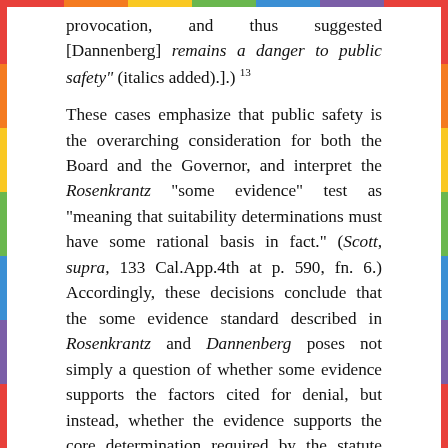provocation, and thus suggested [Dannenberg] remains a danger to public safety" (italics added).].) 13
These cases emphasize that public safety is the overarching consideration for both the Board and the Governor, and interpret the Rosenkrantz "some evidence" test as "meaning that suitability determinations must have some rational basis in fact." (Scott, supra, 133 Cal.App.4th at p. 590, fn. 6.) Accordingly, these decisions conclude that the some evidence standard described in Rosenkrantz and Dannenberg poses not simply a question of whether some evidence supports the factors cited for denial, but instead, whether the evidence supports the core determination required by the statute before parole can be denied—that an inmate's release will unreasonably endanger public safety. (Roderick, supra, 154 Cal.App.4th at p. 263; Gray, supra, 151 Cal.App.4th at p. 410; Barker, supra, 151 Cal.App.4th at p. 366; Tripp,